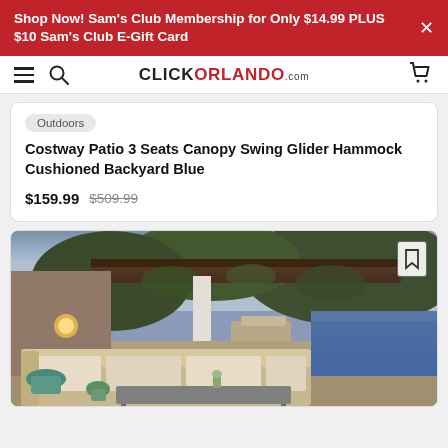Shop Now! Sam's Club Membership for Only $14.99 PLUS $10 Sam's Club E-Gift Card
[Figure (screenshot): ClickOrlando.com website navigation bar with hamburger menu, search icon, logo, and cart icon]
Outdoors
Costway Patio 3 Seats Canopy Swing Glider Hammock Cushioned Backyard Blue
$159.99  $509.99
[Figure (photo): Outdoor patio area with pergola covered in vines, lounge chairs by a pool, and a sectional sofa set with cushions and a coffee table in the foreground at dusk]